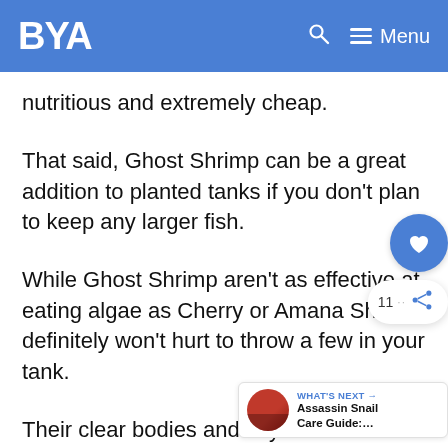BYA  Menu
nutritious and extremely cheap.
That said, Ghost Shrimp can be a great addition to planted tanks if you don't plan to keep any larger fish.
While Ghost Shrimp aren't as effective at eating algae as Cherry or Amana Shrimp definitely won't hurt to throw a few in your tank.
Their clear bodies and tiny size make for an